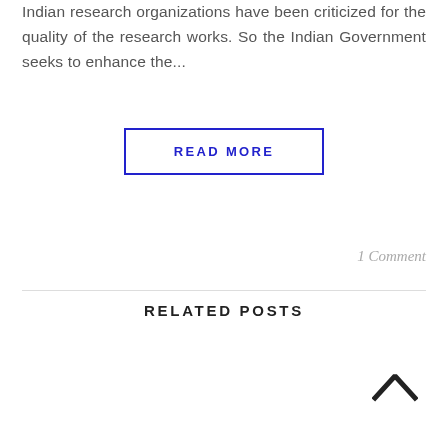Indian research organizations have been criticized for the quality of the research works. So the Indian Government seeks to enhance the...
READ MORE
1 Comment
RELATED POSTS